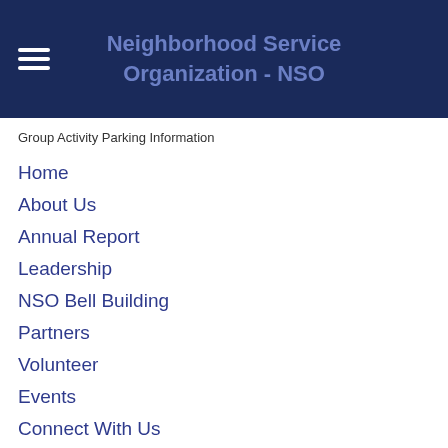Neighborhood Service Organization - NSO
Group Activity Parking Information
Home
About Us
Annual Report
Leadership
NSO Bell Building
Partners
Volunteer
Events
Connect With Us
Careers
Privacy Policy
Donate